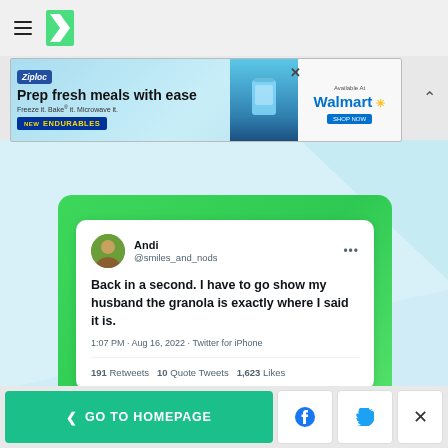HuffPost navigation header with hamburger menu and logo
[Figure (screenshot): Ziploc advertisement: Prep fresh meals with ease. Freeze it. Bake it. Microwave it. NEW ENDURABLES. Available at Walmart.]
[Figure (screenshot): Tweet by Andi @smiles_and_nods: 'Back in a second. I have to go show my husband the granola is exactly where I said it is.' 1:07 PM · Aug 16, 2022 · Twitter for iPhone. 191 Retweets  10 Quote Tweets  1,623 Likes]
< GO TO HOMEPAGE | Facebook share | Twitter share | Close